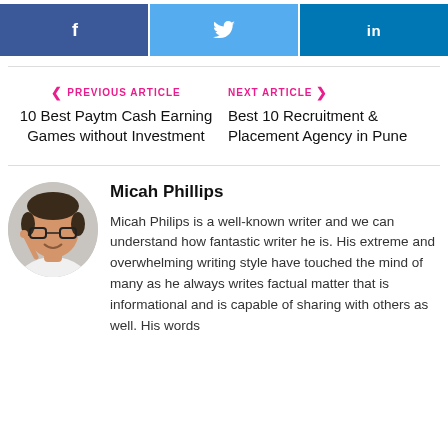[Figure (infographic): Social media share buttons: Facebook (dark blue), Twitter (light blue), LinkedIn (dark blue)]
< PREVIOUS ARTICLE
10 Best Paytm Cash Earning Games without Investment
NEXT ARTICLE >
Best 10 Recruitment & Placement Agency in Pune
[Figure (photo): Photo of Micah Phillips, a man with glasses smiling and pointing upward, wearing a white shirt]
Micah Phillips
Micah Philips is a well-known writer and we can understand how fantastic writer he is. His extreme and overwhelming writing style have touched the mind of many as he always writes factual matter that is informational and is capable of sharing with others as well. His words are...